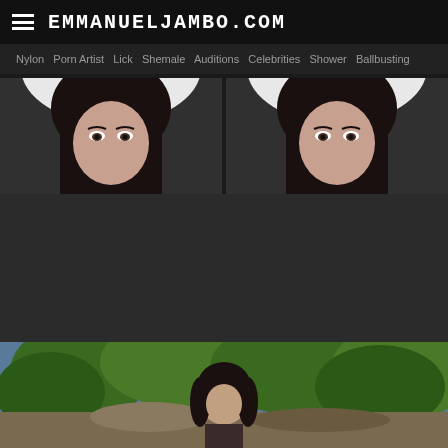emmanuelJambo.com
Nylon  Porn Artist  Lick  Shemale  Auditions  Celebrities  Shower  Ballbusting
[Figure (photo): Two side-by-side photos of a dark-haired woman looking over a white surface, cropped at eye level]
[Figure (photo): Outdoor photo of a dark-haired woman in a natural setting with trees and blue sky]